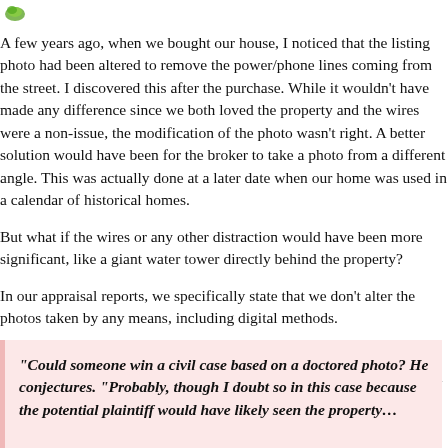[Figure (logo): Small green leaf/plant logo in upper left corner]
A few years ago, when we bought our house, I noticed that the listing photo had been altered to remove the power/phone lines coming from the street. I discovered this after the purchase. While it wouldn't have made any difference since we both loved the property and the wires were a non-issue, the modification of the photo wasn't right. A better solution would have been for the broker to take a photo from a different angle. This was actually done at a later date when our home was used in a calendar of historical homes.
But what if the wires or any other distraction would have been more significant, like a giant water tower directly behind the property?
In our appraisal reports, we specifically state that we don't alter the photos taken by any means, including digital methods.
Blanch Evan's article Be Careful When You Photoshop Your Listing Photos addresses this issue. Here's a snippet from her interview with an N
“Could someone win a civil case based on a doctored photo? He conjectures. “Probably, though I doubt so in this case because the potential plaintiff would have likely seen the property…